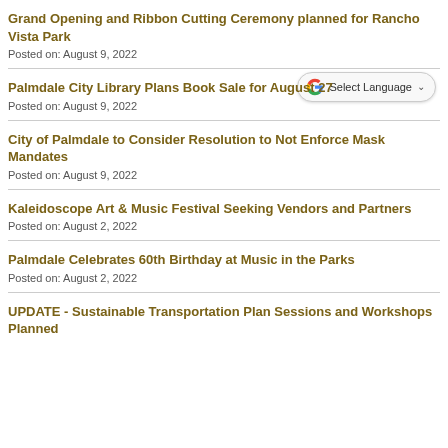Grand Opening and Ribbon Cutting Ceremony planned for Rancho Vista Park
Posted on: August 9, 2022
Palmdale City Library Plans Book Sale for August 27
Posted on: August 9, 2022
City of Palmdale to Consider Resolution to Not Enforce Mask Mandates
Posted on: August 9, 2022
Kaleidoscope Art & Music Festival Seeking Vendors and Partners
Posted on: August 2, 2022
Palmdale Celebrates 60th Birthday at Music in the Parks
Posted on: August 2, 2022
UPDATE - Sustainable Transportation Plan Sessions and Workshops Planned